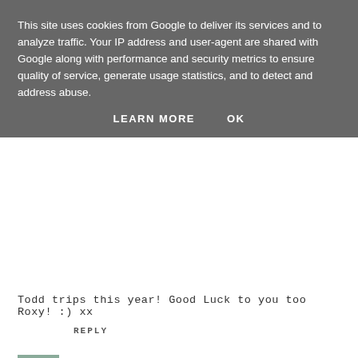This site uses cookies from Google to deliver its services and to analyze traffic. Your IP address and user-agent are shared with Google along with performance and security metrics to ensure quality of service, generate usage statistics, and to detect and address abuse.
LEARN MORE   OK
Todd trips this year! Good Luck to you too Roxy! :) xx
REPLY
Kate Jordan
4 JANUARY 2016 AT 16:12
Good luck with your goals for this year, they all sound totally achievable :).
REPLY
REPLIES
Fleur Danielle